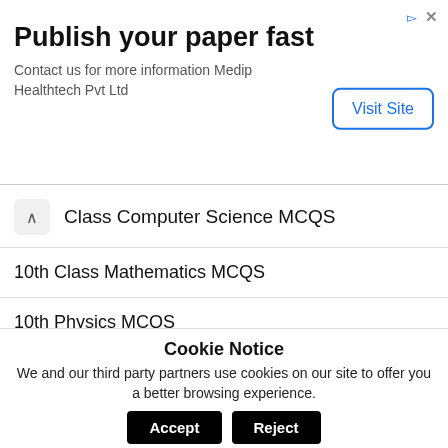[Figure (other): Advertisement banner: 'Publish your paper fast - Contact us for more information Medip Healthtech Pvt Ltd' with a 'Visit Site' button]
Class Computer Science MCQS
10th Class Mathematics MCQS
10th Physics MCQS
10th General Maths MCQS
10th General Science MCQS
11th Biology MCQS
11th Business Mathematics MCQS
11th Chemistry MCQS
Cookie Notice
We and our third party partners use cookies on our site to offer you a better browsing experience.